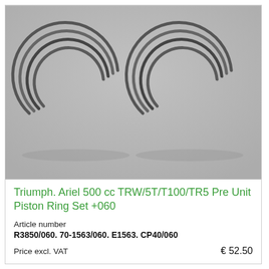[Figure (photo): Two sets of piston rings (metal C-shaped rings) arranged side by side on a light grey background. Each set consists of multiple rings stacked in an overlapping fan pattern.]
Triumph. Ariel 500 cc TRW/5T/T100/TR5 Pre Unit Piston Ring Set +060
Article number
R3850/060. 70-1563/060. E1563. CP40/060
Price excl. VAT   € 52.50